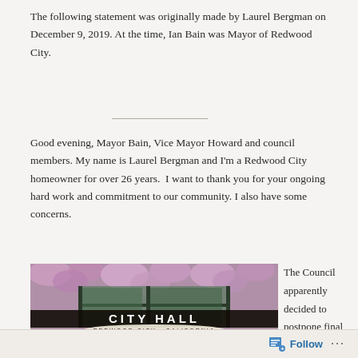The following statement was originally made by Laurel Bergman on December 9, 2019. At the time, Ian Bain was Mayor of Redwood City.
Good evening, Mayor Bain, Vice Mayor Howard and council members. My name is Laurel Bergman and I'm a Redwood City homeowner for over 26 years.  I want to thank you for your ongoing hard work and commitment to our community. I also have some concerns.
[Figure (photo): Photograph of Redwood City Hall sign with wisteria flowers. The sign reads CITY HALL in large white letters on a dark background, with a smaller oval sign below reading REDWOOD CITY · CALIFORNIA.]
The Council apparently decided to postpone final discussion